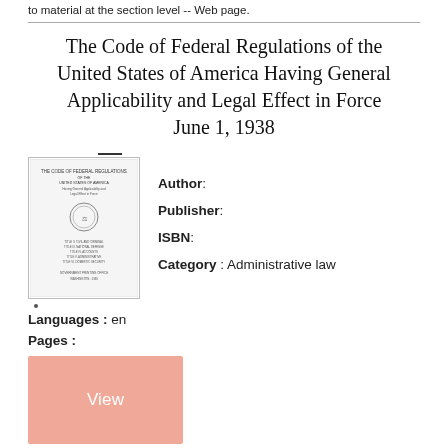to material at the section level -- Web page.
The Code of Federal Regulations of the United States of America Having General Applicability and Legal Effect in Force June 1, 1938
Author:
Publisher:
ISBN:
Category : Administrative law
Languages : en
Pages :
View
Book Description